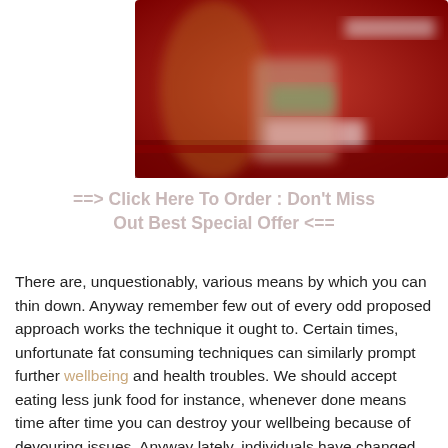[Figure (photo): Blurred red product advertisement image showing a person's torso and a product package on a red background]
==> Click Here To Order : Don't Miss Out Best Special Offer <==
There are, unquestionably, various means by which you can thin down. Anyway remember few out of every odd proposed approach works the technique it ought to. Certain times, unfortunate fat consuming techniques can similarly prompt further wellbeing and health troubles. We should accept eating less junk food for instance, whenever done means time after time you can destroy your wellbeing because of devouring issues. Anyway lately, individuals have changed their